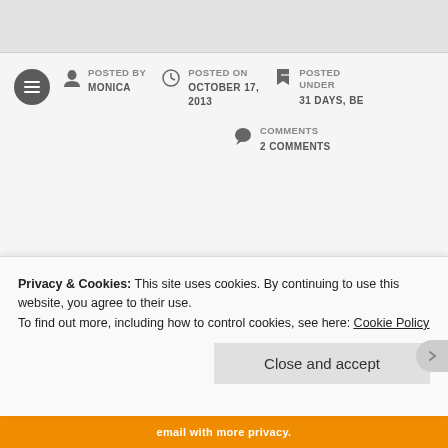POSTED BY MONICA
POSTED ON OCTOBER 17, 2013
POSTED UNDER 31 DAYS, BE
COMMENTS 2 COMMENTS
BEING LAZY (31 DAYS
Privacy & Cookies: This site uses cookies. By continuing to use this website, you agree to their use.
To find out more, including how to control cookies, see here: Cookie Policy
Close and accept
email with more privacy.